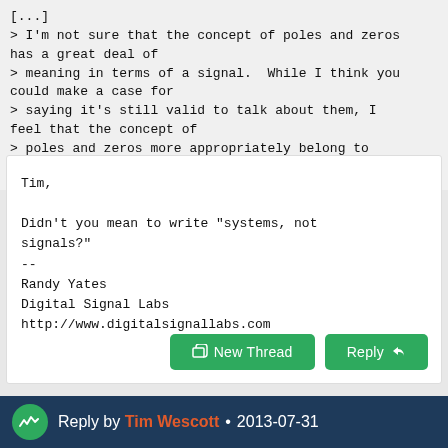[...]
> I'm not sure that the concept of poles and zeros has a great deal of
> meaning in terms of a signal.  While I think you could make a case for
> saying it's still valid to talk about them, I feel that the concept of
> poles and zeros more appropriately belong to signals, not systems.
Tim,

Didn't you mean to write "systems, not signals?"
--
Randy Yates
Digital Signal Labs
http://www.digitalsignallabs.com
Reply by Tim Wescott • 2013-07-31